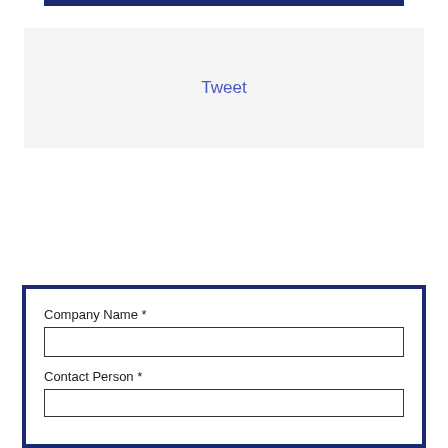[Figure (other): Dark navy blue horizontal bar at the top of the page]
Tweet
Company Name *
Contact Person *